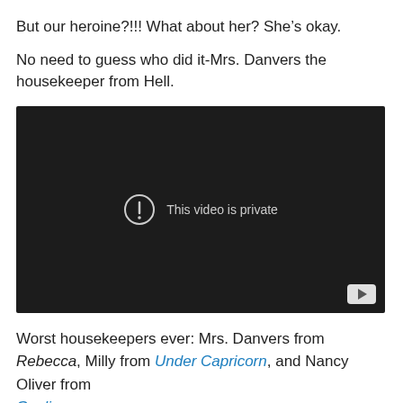But our heroine?!!! What about her? She's okay.
No need to guess who did it-Mrs. Danvers the housekeeper from Hell.
[Figure (screenshot): Embedded video player with dark background showing 'This video is private' message with exclamation icon, and a YouTube play button in the bottom right corner.]
Worst housekeepers ever: Mrs. Danvers from Rebecca, Milly from Under Capricorn, and Nancy Oliver from Gaslight...